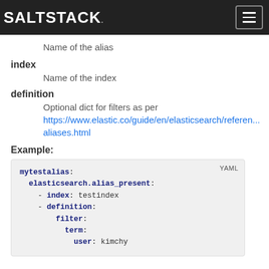SALTSTACK
Name of the alias
index
Name of the index
definition
Optional dict for filters as per https://www.elastic.co/guide/en/elasticsearch/reference/aliases.html
Example:
mytestalias:
  elasticsearch.alias_present:
    - index: testindex
    - definition:
        filter:
          term:
            user: kimchy